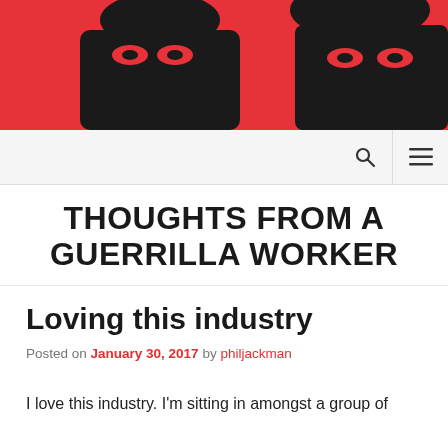[Figure (photo): Red and black high-contrast header image showing a person's face (Guerrilla worker) on a red background]
Navigation bar with search and menu icons
THOUGHTS FROM A GUERRILLA WORKER
Loving this industry
Posted on January 30, 2017 by philjackman
I love this industry. I'm sitting in amongst a group of